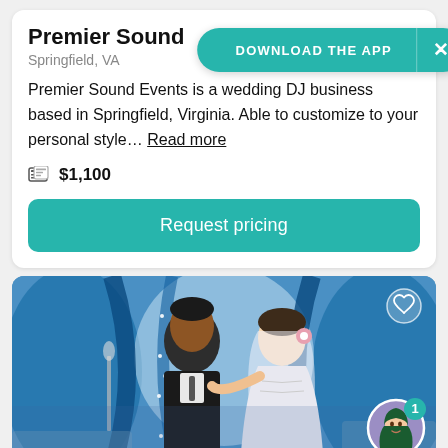Premier Sound Events
Springfield, VA
Premier Sound Events is a wedding DJ business based in Springfield, Virginia. Able to customize to your personal style… Read more
$1,100
Request pricing
DOWNLOAD THE APP
[Figure (photo): Wedding couple dancing at a decorated venue with blue drapes and floral decorations]